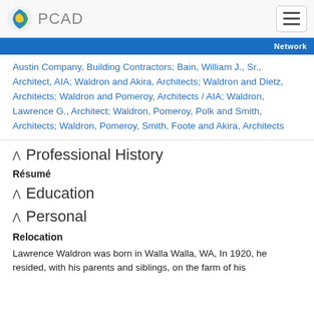PCAD
Austin Company, Building Contractors; Bain, William J., Sr., Architect, AIA; Waldron and Akira, Architects; Waldron and Dietz, Architects; Waldron and Pomeroy, Architects / AIA; Waldron, Lawrence G., Architect; Waldron, Pomeroy, Polk and Smith, Architects; Waldron, Pomeroy, Smith, Foote and Akira, Architects
Professional History
Résumé
Education
Personal
Relocation
Lawrence Waldron was born in Walla Walla, WA, In 1920, he resided, with his parents and siblings, on the farm of his